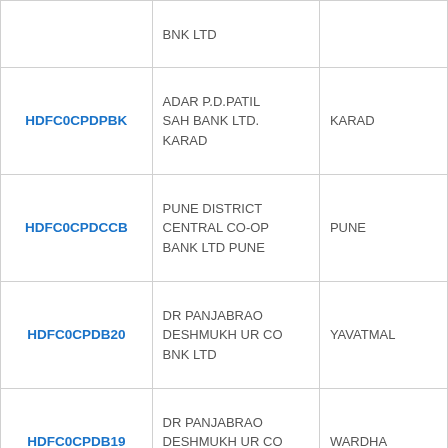| IFSC Code | Bank Name | City |
| --- | --- | --- |
|  | BNK LTD |  |
| HDFC0CPDPBK | ADAR P.D.PATIL SAH BANK LTD. KARAD | KARAD |
| HDFC0CPDCCB | PUNE DISTRICT CENTRAL CO-OP BANK LTD PUNE | PUNE |
| HDFC0CPDB20 | DR PANJABRAO DESHMUKH UR CO BNK LTD | YAVATMAL |
| HDFC0CPDB19 | DR PANJABRAO DESHMUKH UR CO BNK LTD | WARDHA |
|  |  |  |